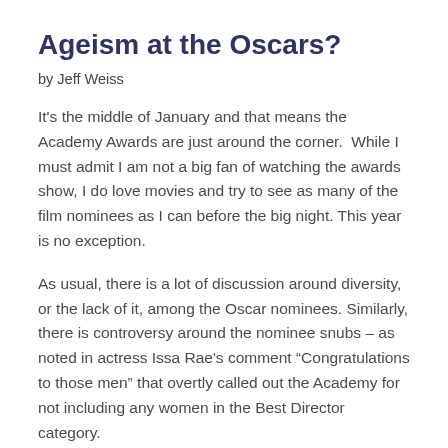Ageism at the Oscars?
by Jeff Weiss
It's the middle of January and that means the Academy Awards are just around the corner.  While I must admit I am not a big fan of watching the awards show, I do love movies and try to see as many of the film nominees as I can before the big night. This year is no exception.
As usual, there is a lot of discussion around diversity, or the lack of it, among the Oscar nominees. Similarly, there is controversy around the nominee snubs – as noted in actress Issa Rae's comment “Congratulations to those men” that overtly called out the Academy for not including any women in the Best Director category.